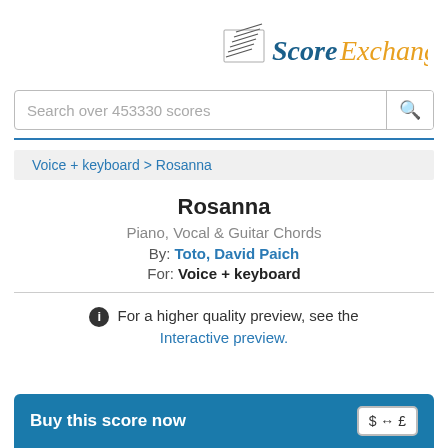[Figure (logo): Score Exchange logo with stylized musical notation icon, 'Score' in dark blue and 'Exchange' in gold/orange]
Search over 453330 scores
Voice + keyboard > Rosanna
Rosanna
Piano, Vocal & Guitar Chords
By: Toto, David Paich
For: Voice + keyboard
ℹ For a higher quality preview, see the
Interactive preview.
Buy this score now